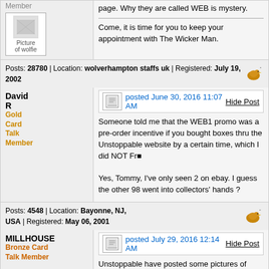page. Why they are called WEB is mystery.

Come, it is time for you to keep your appointment with The Wicker Man.
Posts: 28780 | Location: wolverhampton staffs uk | Registered: July 19, 2002
David R
Gold Card Talk Member
posted June 30, 2016 11:07 AM
Someone told me that the WEB1 promo was a pre-order incentive if you bought boxes thru the Unstoppable website by a certain time, which I did NOT Fr 

Yes, Tommy, I've only seen 2 on ebay. I guess the other 98 went into collectors' hands ?
Posts: 4548 | Location: Bayonne, NJ, USA | Registered: May 06, 2001
MILLHOUSE
Bronze Card Talk Member
posted July 29, 2016 12:14 AM
Unstoppable have posted some pictures of sketch cards from the Ufo card set. The sketch cards are done by Graham Bleathman and Westley James Smith
Posts: 757 | Location: london england | Registered: March 28, 2006